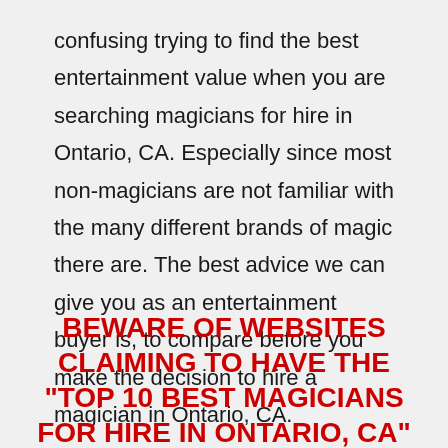confusing trying to find the best entertainment value when you are searching magicians for hire in Ontario, CA. Especially since most non-magicians are not familiar with the many different brands of magic there are. The best advice we can give you as an entertainment buyer is, to compare before you make the decision to hire a magician in Ontario, CA.
BEWARE OF WEBSITES CLAIMING TO HAVE THE "TOP 10 BEST MAGICIANS FOR HIRE IN ONTARIO, CA"